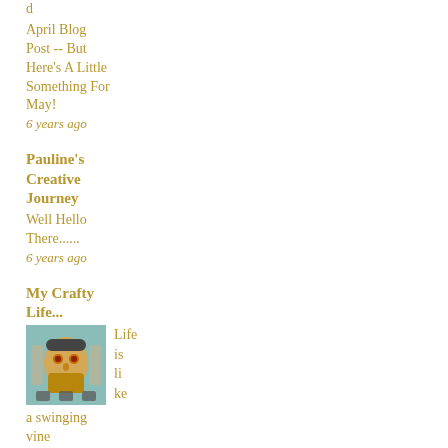April Blog Post -- But Here's A Little Something For May!
6 years ago
Pauline's Creative Journey
Well Hello There......
6 years ago
My Crafty Life...
[Figure (photo): Small thumbnail image showing a colorful illustrated/painted face artwork]
Life is like a swinging vine
6 years ago